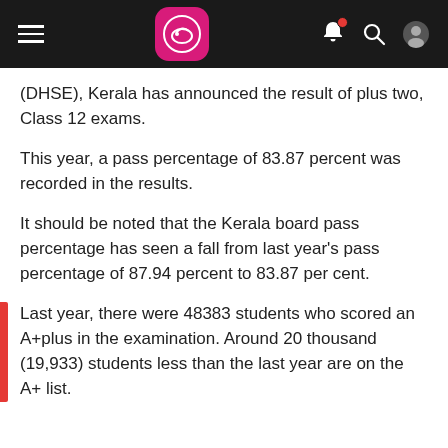Navigation bar with hamburger menu, logo, bell notification, search, and user icons
(DHSE), Kerala has announced the result of plus two, Class 12 exams.
This year, a pass percentage of 83.87 percent was recorded in the results.
It should be noted that the Kerala board pass percentage has seen a fall from last year's pass percentage of 87.94 percent to 83.87 per cent.
Last year, there were 48383 students who scored an A+plus in the examination. Around 20 thousand (19,933) students less than the last year are on the A+ list.